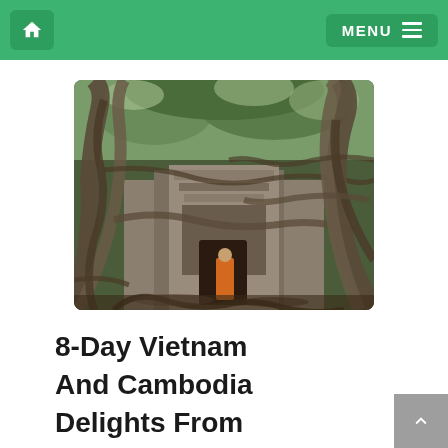Home | MENU
[Figure (photo): Ancient temple ruins covered with large tree roots and branches, with a monk in orange robes walking through a doorway — Ta Prohm style temple, Angkor, Cambodia.]
8-Day Vietnam And Cambodia Delights From Hanoi